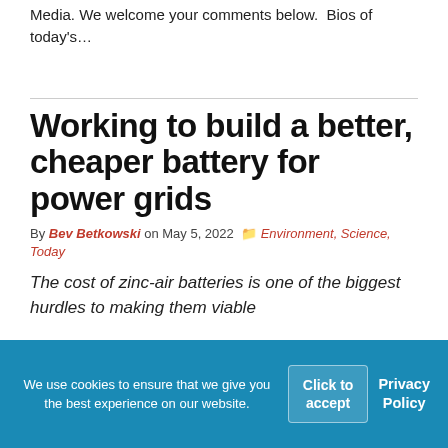Media. We welcome your comments below.  Bios of today's…
Working to build a better, cheaper battery for power grids
By Bev Betkowski on May 5, 2022  Environment, Science, Today
The cost of zinc-air batteries is one of the biggest hurdles to making them viable
[Figure (photo): Dark image with green circular element, likely a video thumbnail or photo related to zinc-air batteries]
We use cookies to ensure that we give you the best experience on our website.  Click to accept  Privacy Policy